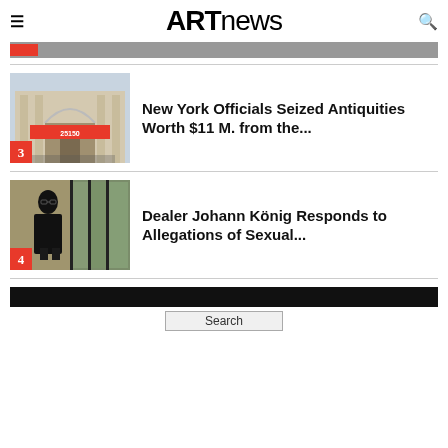ARTnews
[Figure (photo): Partial top image strip from previous article]
New York Officials Seized Antiquities Worth $11 M. from the...
[Figure (photo): Museum entrance with classical columns and red banner, numbered 3]
Dealer Johann König Responds to Allegations of Sexual...
[Figure (photo): Person in black standing in front of glass building entrance, numbered 4]
Search